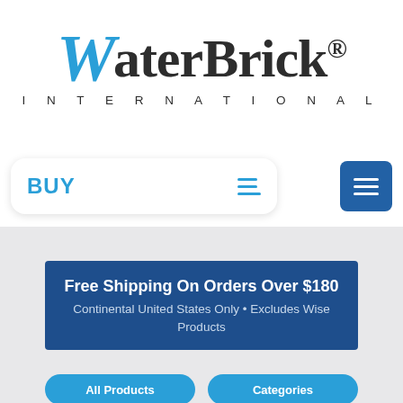[Figure (logo): WaterBrick International logo with blue stylized W and dark serif lettering, with INTERNATIONAL subtitle in spaced caps]
[Figure (screenshot): Navigation bar with BUY button in a white rounded box with hamburger icon, and a blue square hamburger menu button on the right]
Free Shipping On Orders Over $180 Continental United States Only • Excludes Wise Products
[Figure (other): Two blue rounded buttons at the bottom, partially visible]